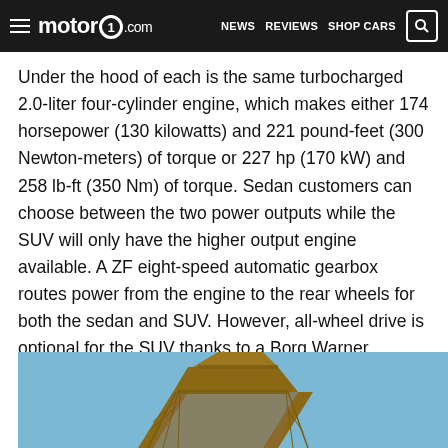motor1.com | NEWS | REVIEWS | SHOP CARS
Under the hood of each is the same turbocharged 2.0-liter four-cylinder engine, which makes either 174 horsepower (130 kilowatts) and 221 pound-feet (300 Newton-meters) of torque or 227 hp (170 kW) and 258 lb-ft (350 Nm) of torque. Sedan customers can choose between the two power outputs while the SUV will only have the higher output engine available. A ZF eight-speed automatic gearbox routes power from the engine to the rear wheels for both the sedan and SUV. However, all-wheel drive is optional for the SUV thanks to a Borg Warner transfer case.
[Figure (photo): Photo of the Eiffel Tower structure from below against a blue sky]